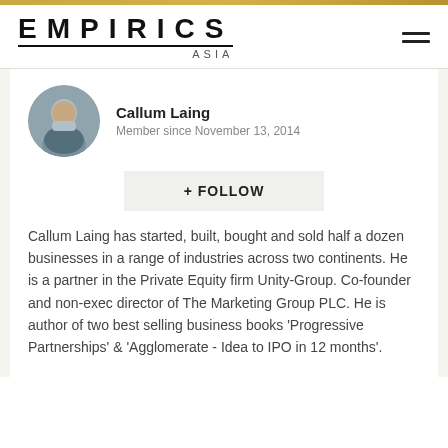EMPIRICS ASIA
Callum Laing
Member since November 13, 2014
+ FOLLOW
Callum Laing has started, built, bought and sold half a dozen businesses in a range of industries across two continents. He is a partner in the Private Equity firm Unity-Group. Co-founder and non-exec director of The Marketing Group PLC. He is author of two best selling business books 'Progressive Partnerships' & 'Agglomerate - Idea to IPO in 12 months'.